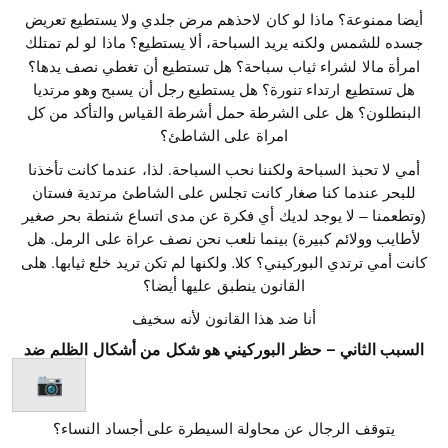أيضا ممنوعة؟ ماذا لو كان لاحذهم مرض جلدي ولا يستطيع تعريض جسده للشمس ولكنه يريد السباحة، ألا يستطيع؟ ماذا لو لم تمتلك امرأة مالا لشراء ثياب سباحة؟ هل تستطيع أن تغطي نصف يدها؟ هل تستطيع ارتداء تنورة؟ هل يستطيع رجل أن يسبح وهو مرتديا البنطلون؟ هل على الشرطة حمل أشرطة القياس والتأكد من كل امراة على الشاطئ؟
أمي لا تحبذ السباحة ولكننا نحب السباحة. لذا، عندما كانت تأخذنا للبحر عندما كنا صغار كانت تجلس على الشاطئ مرتدية فستان (وتطعمنا – لا يوجد لديك أي فكرة عن مدى اتساع شنطة بحر صغير لأطايب وولائم كبيرة) بينما نلعب نحن نصف عراة على الرمل. هل كانت أمي ترتدي البوركيني؟ كلا. ولكنها لم تكن تريد خلع ثيابها. هلى القانون ينطبق عليها أيضا؟
أنا ضد هذا القانون لأنه سخيف
السبب الثاني – حظر البوركيني هو شكل من أشكال الظلم ضد
يتوقف الرجال عن محاولة السيطرة على أجساد النساء؟